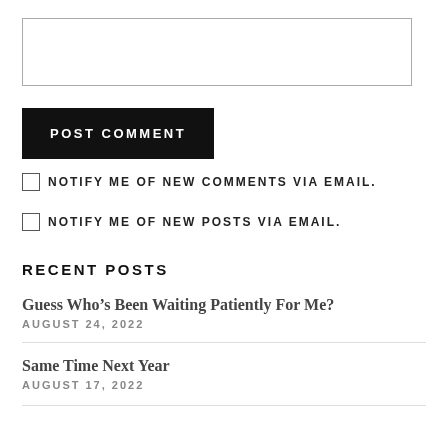[Figure (other): Empty text area input box]
POST COMMENT
NOTIFY ME OF NEW COMMENTS VIA EMAIL.
NOTIFY ME OF NEW POSTS VIA EMAIL.
RECENT POSTS
Guess Who’s Been Waiting Patiently For Me?
AUGUST 24, 2022
Same Time Next Year
AUGUST 17, 2022